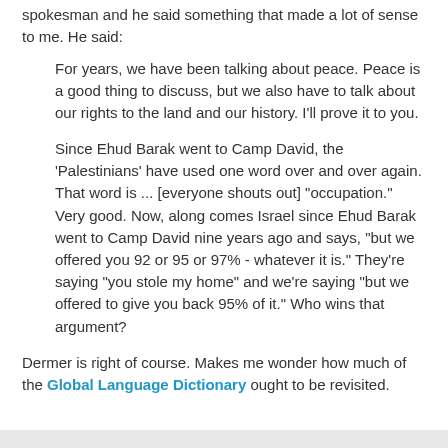spokesman and he said something that made a lot of sense to me. He said:
For years, we have been talking about peace. Peace is a good thing to discuss, but we also have to talk about our rights to the land and our history. I'll prove it to you.
Since Ehud Barak went to Camp David, the 'Palestinians' have used one word over and over again. That word is ... [everyone shouts out] "occupation." Very good. Now, along comes Israel since Ehud Barak went to Camp David nine years ago and says, "but we offered you 92 or 95 or 97% - whatever it is." They're saying "you stole my home" and we're saying "but we offered to give you back 95% of it." Who wins that argument?
Dermer is right of course. Makes me wonder how much of the Global Language Dictionary ought to be revisited.